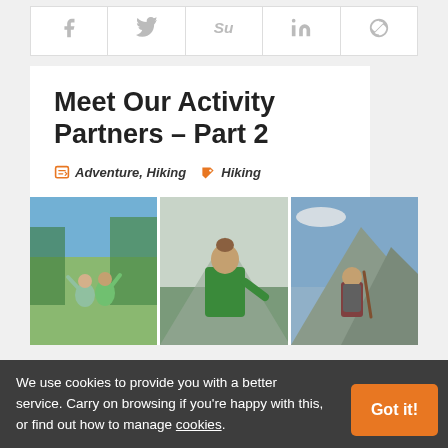[Figure (other): Social sharing icons bar: Facebook (f), Twitter bird, StumbleUpon (Su), LinkedIn (in), Pinterest (p) icons in light gray]
Meet Our Activity Partners – Part 2
Adventure, Hiking   Hiking
[Figure (photo): Three-panel photo collage: left panel shows two people waving in a green field with trees; center panel shows a person in green jacket on a mountain; right panel shows a person with backpack on a mountain ridge]
We use cookies to provide you with a better service. Carry on browsing if you're happy with this, or find out how to manage cookies.